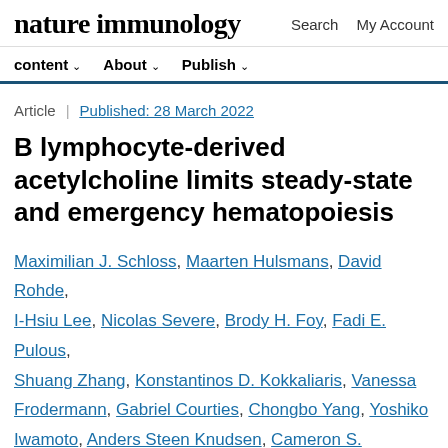nature immunology | Search  My Account
content ∨  About ∨  Publish ∨
Article | Published: 28 March 2022
B lymphocyte-derived acetylcholine limits steady-state and emergency hematopoiesis
Maximilian J. Schloss, Maarten Hulsmans, David Rohde, I-Hsiu Lee, Nicolas Severe, Brody H. Foy, Fadi E. Pulous, Shuang Zhang, Konstantinos D. Kokkaliaris, Vanessa Frodermann, Gabriel Courties, Chongbo Yang, Yoshiko Iwamoto, Anders Steen Knudsen, Cameron S. McAlpine, Masahiro Yamazoe, Stephen P. Schmidt, Gregory R.